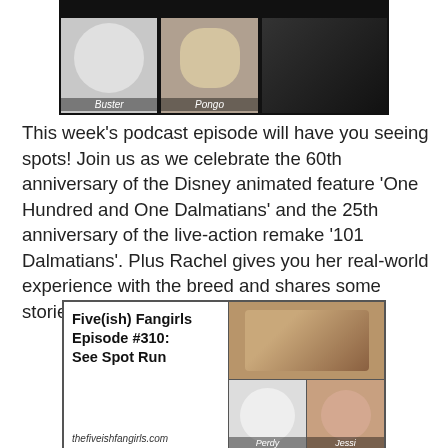[Figure (photo): Collage of Dalmatian dogs and a person, with labels 'Buster', 'Pongo' at the top of the page]
This week's podcast episode will have you seeing spots! Join us as we celebrate the 60th anniversary of the Disney animated feature 'One Hundred and One Dalmatians' and the 25th anniversary of the live-action remake '101 Dalmatians'. Plus Rachel gives you her real-world experience with the breed and shares some stories. Also the news and your feedback!
[Figure (photo): Podcast episode art for Five(ish) Fangirls Episode #310: See Spot Run from thefiveishfangirls.com, featuring collage of Dalmatian dogs labeled 'Perdy', 'Jessi', 'Nash', and a Cruella de Vil character image]